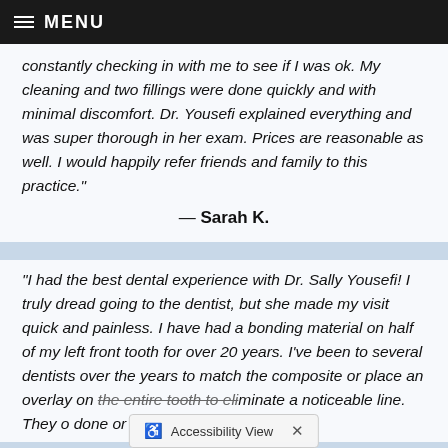≡ MENU
constantly checking in with me to see if I was ok. My cleaning and two fillings were done quickly and with minimal discomfort. Dr. Yousefi explained everything and was super thorough in her exam. Prices are reasonable as well. I would happily refer friends and family to this practice."
— Sarah K.
"I had the best dental experience with Dr. Sally Yousefi! I truly dread going to the dentist, but she made my visit quick and painless. I have had a bonding material on half of my left front tooth for over 20 years. I've been to several dentists over the years to match the composite or place an overlay on the entire tooth to eliminate a noticeable line. They o done or
Accessibility View